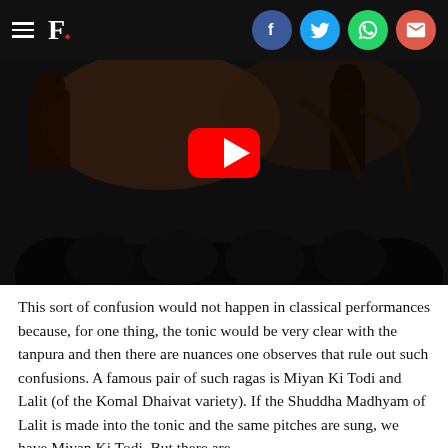F. [with hamburger menu and social sharing icons: Facebook, Twitter, WhatsApp, Email]
[Figure (photo): A video thumbnail showing a classical music concert performance with musicians on stage and audience silhouettes in the foreground. A YouTube play button overlay is in the center.]
This sort of confusion would not happen in classical performances because, for one thing, the tonic would be very clear with the tanpura and then there are nuances one observes that rule out such confusions. A famous pair of such ragas is Miyan Ki Todi and Lalit (of the Komal Dhaivat variety). If the Shuddha Madhyam of Lalit is made into the tonic and the same pitches are sung, we have Miyan Ki Todi. But there are